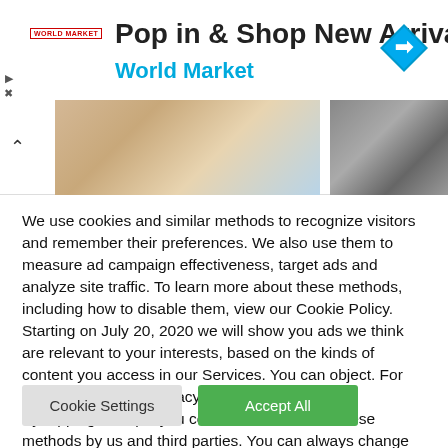[Figure (screenshot): Advertisement banner for World Market: 'Pop in & Shop New Arrivals' with World Market logo, blue navigation icon diamond shape on the right, and two product photos below showing shelving/storage items.]
We use cookies and similar methods to recognize visitors and remember their preferences. We also use them to measure ad campaign effectiveness, target ads and analyze site traffic. To learn more about these methods, including how to disable them, view our Cookie Policy. Starting on July 20, 2020 we will show you ads we think are relevant to your interests, based on the kinds of content you access in our Services. You can object. For more info, see our privacy policy.
By tapping 'accept,' you consent to the use of these methods by us and third parties. You can always change your tracker preferences by visiting our Cookie Policy..
Cookie Settings
Accept All